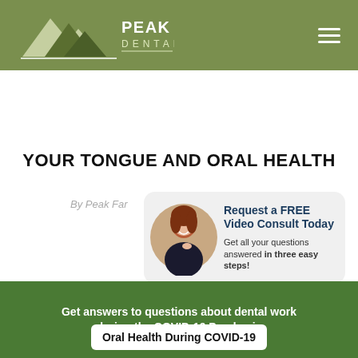[Figure (logo): Peak Family Dental Care logo with mountain peaks graphic and text on olive green background header bar with hamburger menu icon]
YOUR TONGUE AND ORAL HEALTH
By Peak Fam
[Figure (infographic): Ad card with woman photo and text: Request a FREE Video Consult Today. Get all your questions answered in three easy steps!]
Get answers to questions about dental work during the COVID-19 Pandemic
Oral Health During COVID-19